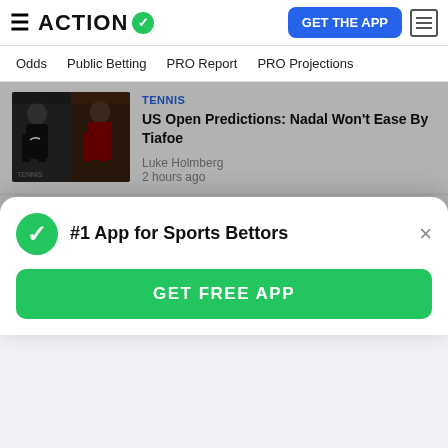ACTION ✓  GET THE APP
Odds  Public Betting  PRO Report  PRO Projections
[Figure (photo): Two tennis players, one in black shirt and one in red/white, shown in action shots side by side]
TENNIS
US Open Predictions: Nadal Won't Ease By Tiafoe
Luke Holmberg
2 hours ago
[Figure (photo): NCAAF football players on field with large crowd in stadium background, players wearing numbered jerseys including #82 and #14]
NCAAF
McMurphy's Bowl Projections for Week 2
Brett McMurphy
4 hours ago
#1 App for Sports Bettors
GET FREE APP